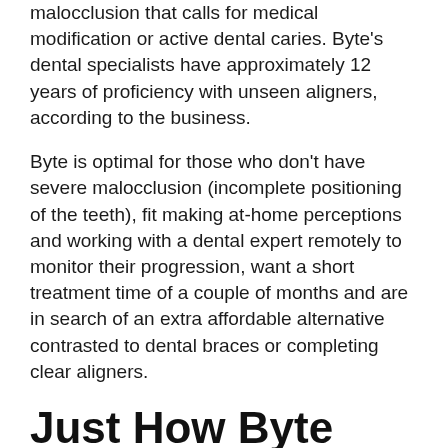malocclusion that calls for medical modification or active dental caries. Byte's dental specialists have approximately 12 years of proficiency with unseen aligners, according to the business.
Byte is optimal for those who don't have severe malocclusion (incomplete positioning of the teeth), fit making at-home perceptions and working with a dental expert remotely to monitor their progression, want a short treatment time of a couple of months and are in search of an extra affordable alternative contrasted to dental braces or completing clear aligners.
Just How Byte Works (& Tips to Get Savings)